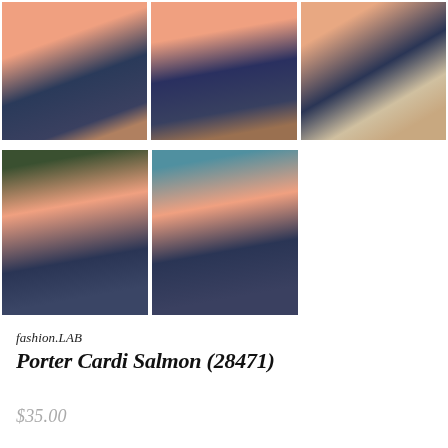[Figure (photo): Three product photos in a row showing a woman wearing a salmon/coral cardigan paired with a dark floral skirt, photographed from waist down in different angles]
[Figure (photo): Two product photos showing a woman wearing a salmon/coral V-neck cardigan with button detail, paired with dark floral skirt, shown from torso up]
fashion.LAB
Porter Cardi Salmon (28471)
$35.00